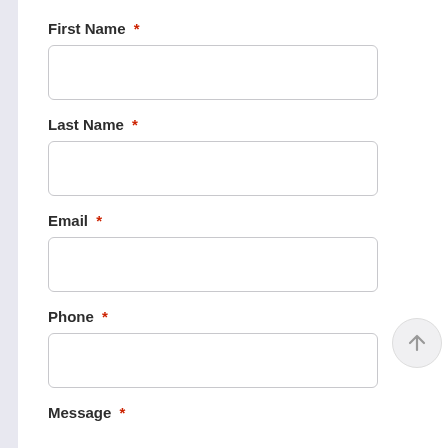First Name *
[Figure (other): Empty text input field for First Name]
Last Name *
[Figure (other): Empty text input field for Last Name]
Email *
[Figure (other): Empty text input field for Email]
Phone *
[Figure (other): Empty text input field for Phone]
Message *
[Figure (other): Scroll-to-top button with upward arrow]